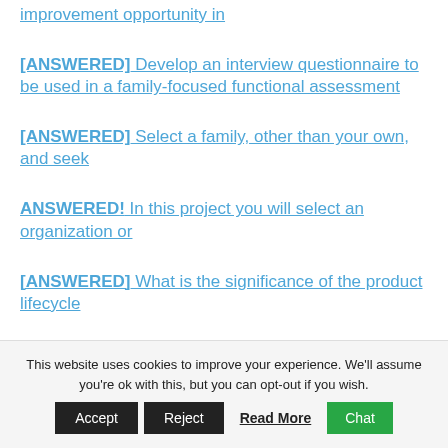improvement opportunity in
[ANSWERED] Develop an interview questionnaire to be used in a family-focused functional assessment
[ANSWERED] Select a family, other than your own, and seek
ANSWERED! In this project you will select an organization or
[ANSWERED] What is the significance of the product lifecycle
This website uses cookies to improve your experience. We'll assume you're ok with this, but you can opt-out if you wish.